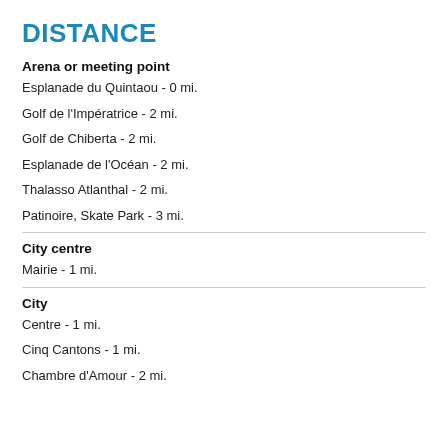DISTANCE
Arena or meeting point
Esplanade du Quintaou - 0 mi.
Golf de l'Impératrice - 2 mi.
Golf de Chiberta - 2 mi.
Esplanade de l'Océan - 2 mi.
Thalasso Atlanthal - 2 mi.
Patinoire, Skate Park - 3 mi.
City centre
Mairie - 1 mi.
City
Centre - 1 mi.
Cinq Cantons - 1 mi.
Chambre d'Amour - 2 mi.